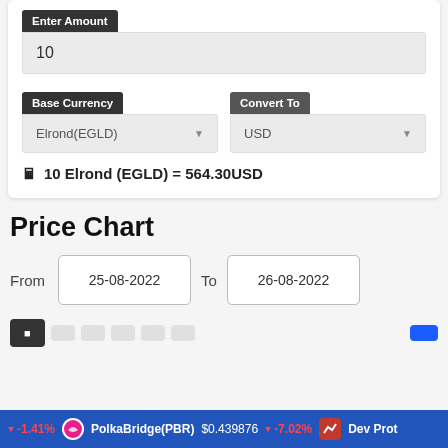Enter Amount
10
Base Currency
Convert To
Elrond(EGLD)
USD
10 Elrond (EGLD) = 564.30USD
Price Chart
From
25-08-2022
To
26-08-2022
-1.41%   PolkaBridge(PBR)   $0.439876   -7.02%   Dev Prot